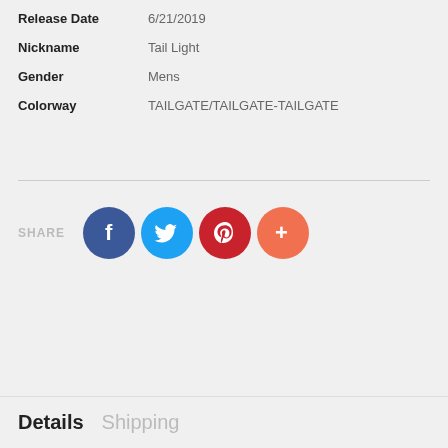| Release Date | 6/21/2019 |
| Nickname | Tail Light |
| Gender | Mens |
| Colorway | TAILGATE/TAILGATE-TAILGATE |
[Figure (infographic): Share section with social media icons: Facebook (dark blue), Twitter (light blue), Pinterest (red), and a More button (orange-red)]
Details   Shipping